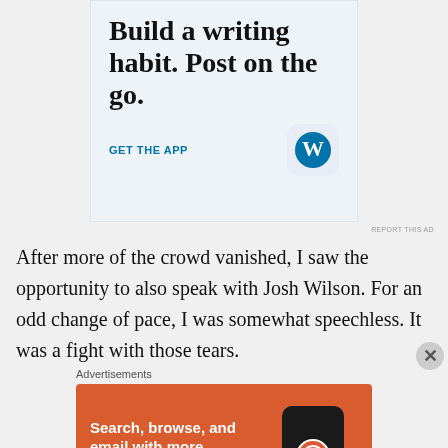[Figure (illustration): WordPress app advertisement with text 'Build a writing habit. Post on the go.' and 'GET THE APP' CTA with WordPress logo icon on light blue background]
REPORT THIS AD
After more of the crowd vanished, I saw the opportunity to also speak with Josh Wilson. For an odd change of pace, I was somewhat speechless. It was a fight with those tears.
Advertisements
[Figure (illustration): DuckDuckGo advertisement with orange background, text 'Search, browse, and email with more privacy. All in One Free App' with phone mockup and DuckDuckGo logo]